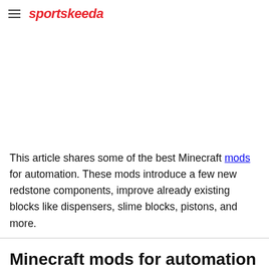sportskeeda
[Figure (other): Advertisement/blank area]
This article shares some of the best Minecraft mods for automation. These mods introduce a few new redstone components, improve already existing blocks like dispensers, slime blocks, pistons, and more.
Minecraft mods for automation